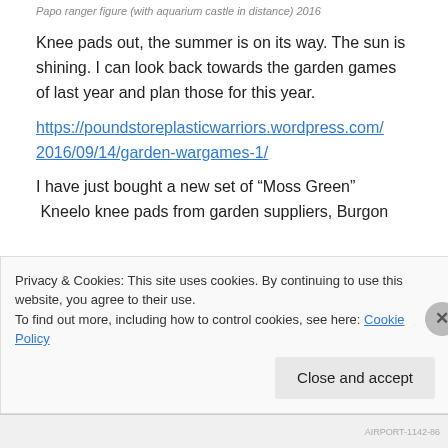Papo ranger figure (with aquarium castle in distance) 2016
Knee pads out, the summer is on its way. The sun is shining. I can look back towards the garden games of last year and plan those for this year.
https://poundstoreplasticwarriors.wordpress.com/2016/09/14/garden-wargames-1/
I have just bought a new set of “Moss Green”
Kneelo knee pads from garden suppliers, Burgon
Privacy & Cookies: This site uses cookies. By continuing to use this website, you agree to their use.
To find out more, including how to control cookies, see here: Cookie Policy
Close and accept